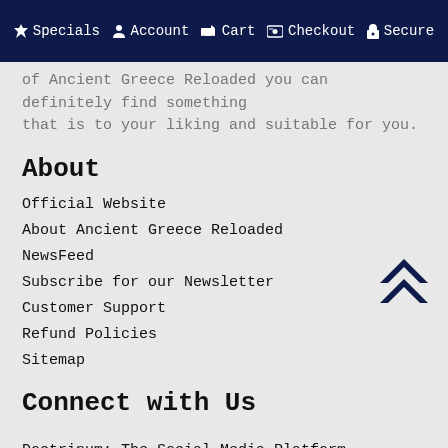Specials  Account  Cart  Checkout  Secure
of Ancient Greece Reloaded you can definitely find something that is to your liking and suitable for you.
About
Official Website
About Ancient Greece Reloaded
NewsFeed
Subscribe for our Newsletter
Customer Support
Refund Policies
Sitemap
Connect with Us
Doctrinum: The Social Media Platform
Forum
Online Library